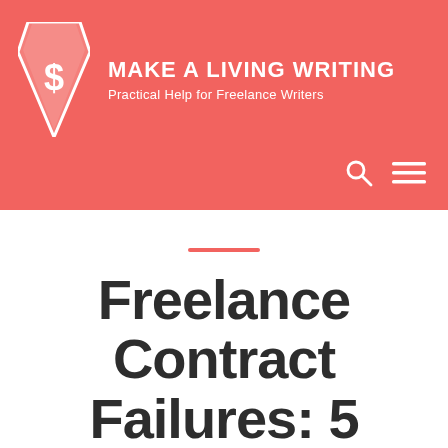MAKE A LIVING WRITING — Practical Help for Freelance Writers
Freelance Contract Failures: 5 Things to